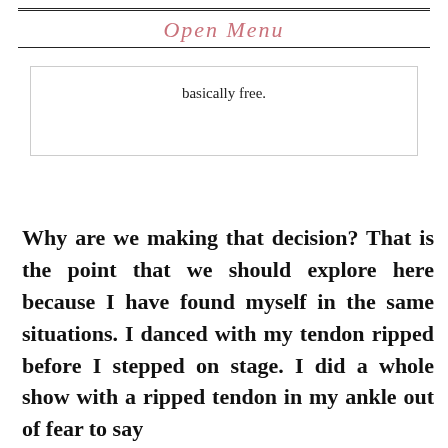Open Menu
basically free.
Why are we making that decision? That is the point that we should explore here because I have found myself in the same situations. I danced with my tendon ripped before I stepped on stage. I did a whole show with a ripped tendon in my ankle out of fear to say